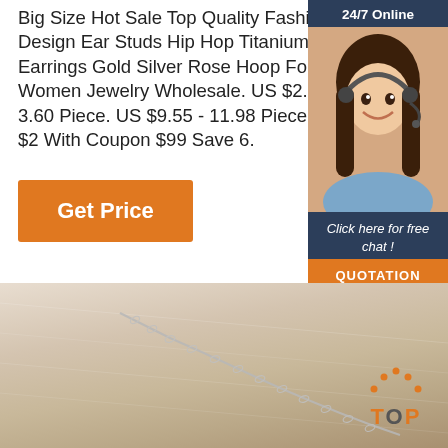Big Size Hot Sale Top Quality Fashion Design Ear Studs Hip Hop Titanium Steel Earrings Gold Silver Rose Hoop For Women Jewelry Wholesale. US $2.87 - 3.60 Piece. US $9.55 - 11.98 Piece. Save $2 With Coupon $99 Save 6.
Get Price
[Figure (photo): Customer service representative wearing headset, smiling, with dark hair. Chat widget with '24/7 Online' header, 'Click here for free chat!' text, and 'QUOTATION' button.]
[Figure (photo): Beige/cream textured fabric surface with a silver chain jewelry item diagonally placed. Orange 'TOP' badge with dots in bottom right corner.]